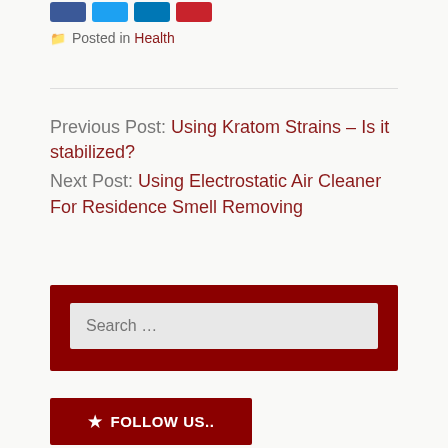[Figure (other): Four blue social share buttons at top]
Posted in Health
Previous Post: Using Kratom Strains – Is it stabilized?
Next Post: Using Electrostatic Air Cleaner For Residence Smell Removing
[Figure (other): Search box with dark red background containing a text input field with placeholder 'Search ...']
[Figure (other): Dark red button with star icon and text 'FOLLOW US..']